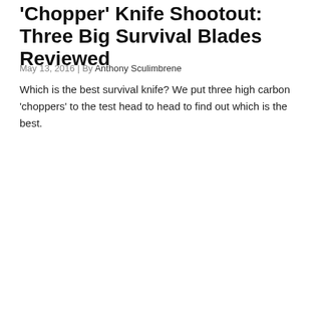'Chopper' Knife Shootout: Three Big Survival Blades Reviewed
May 13, 2016 | By Anthony Sculimbrene
Which is the best survival knife? We put three high carbon 'choppers' to the test head to head to find out which is the best.